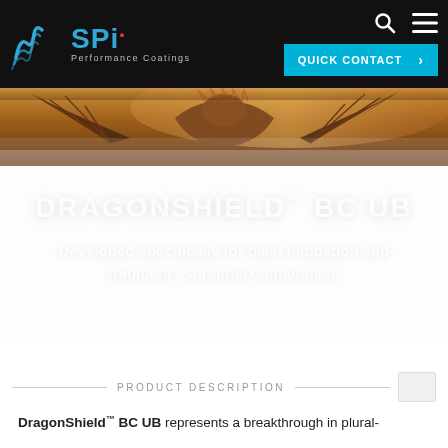[Figure (logo): SPI Performance Coatings logo with stylized wave icon in blue and red dot]
[Figure (photo): Fantasy dragon with spread wings against orange sky background — hero banner image]
DRAGONSHIELD™ BC UB
Developed specifically for blast mitigation and fragment / shrapnel containment
PRODUCT DESCRIPTION
DragonShield™ BC UB represents a breakthrough in plural-